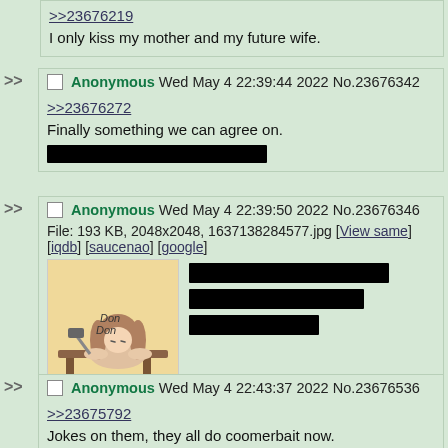>>23676219
I only kiss my mother and my future wife.
Anonymous Wed May 4 22:39:44 2022 No.23676342
>>23676272
Finally something we can agree on. [redacted]
Anonymous Wed May 4 22:39:50 2022 No.23676346
File: 193 KB, 2048x2048, 1637138284577.jpg [View same] [iqdb] [saucenao] [google]
[image: anime character with 'Don Don' text] [redacted text]
Anonymous Wed May 4 22:43:37 2022 No.23676536
>>23675792
Jokes on them, they all do coomerbait now.